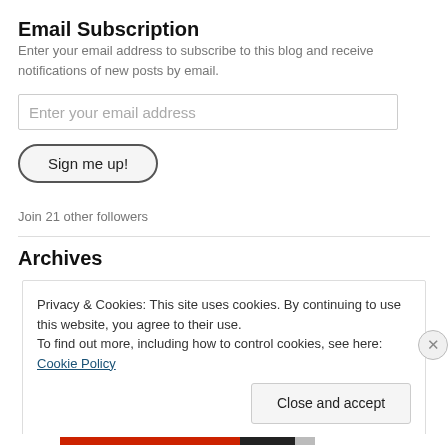Email Subscription
Enter your email address to subscribe to this blog and receive notifications of new posts by email.
Enter your email address
Sign me up!
Join 21 other followers
Archives
Privacy & Cookies: This site uses cookies. By continuing to use this website, you agree to their use.
To find out more, including how to control cookies, see here: Cookie Policy
Close and accept